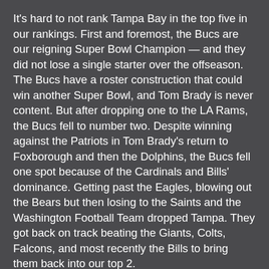It's hard to not rank Tampa Bay in the top five in our rankings. First and foremost, the Bucs are our reigning Super Bowl Champion — and they did not lose a single starter over the offseason. The Bucs have a roster construction that could win another Super Bowl, and Tom Brady is never content. But after dropping one to the LA Rams, the Bucs fell to number two. Despite winning against the Patriots in Tom Brady's return to Foxborough and then the Dolphins, the Bucs fell one spot because of the Cardinals and Bills' dominance. Getting past the Eagles, blowing out the Bears but then losing to the Saints and the Washington Football Team dropped Tampa. They got back on track beating the Giants, Colts, Falcons, and most recently the Bills to bring them back into our top 2.
3. Arizona Cardinals 10-3 (down 1 spot)